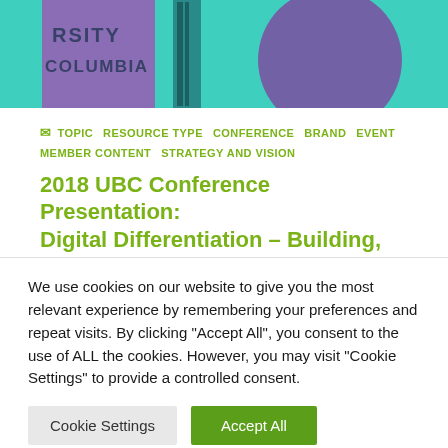[Figure (photo): Colorful abstract architectural photo showing partial text 'RSITY COLUMBIA' on a building facade with teal, purple and green colors]
TOPIC  RESOURCE TYPE  CONFERENCE  BRAND  EVENT  MEMBER CONTENT  STRATEGY AND VISION
2018 UBC Conference Presentation: Digital Differentiation – Building,
We use cookies on our website to give you the most relevant experience by remembering your preferences and repeat visits. By clicking "Accept All", you consent to the use of ALL the cookies. However, you may visit "Cookie Settings" to provide a controlled consent.